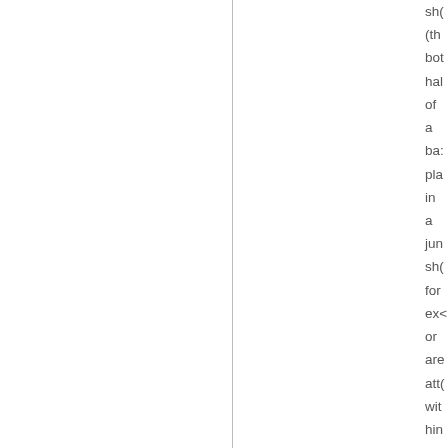sh( (th bot hal of a ba: pla in a jun sh( for ex: or are att wit hin tri to get in the pic